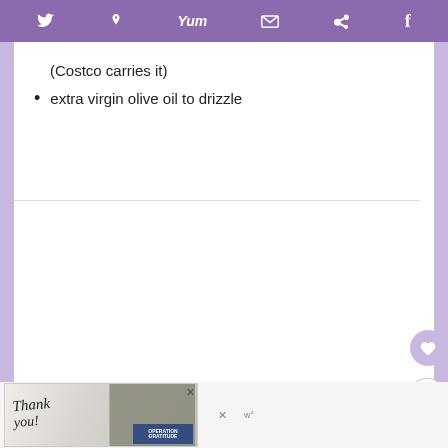[Figure (screenshot): Purple social media sharing toolbar with icons for Twitter, Pinterest, Yummly, email, WhatsApp, and Flipboard]
(Costco carries it)
extra virgin olive oil to drizzle
[Figure (screenshot): What's Next panel showing a thumbnail of a food dish with text 'Prosciutto di San Daniele,...']
[Figure (screenshot): Advertisement banner for Operation Gratitude with 'Thank you!' text and military personnel images]